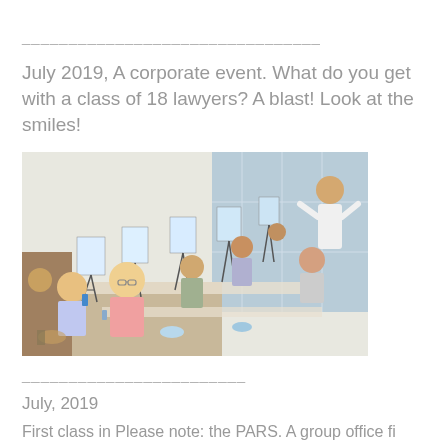________________________________
July 2019,  A corporate event.  What do you get with a class of 18 lawyers?  A blast!  Look at the smiles!
[Figure (photo): Group of people attending a painting class, seated at tables with canvases on easels, smiling. An instructor stands at the front.]
________________________
July, 2019
First class in Please note: the PARS. A group office fi...